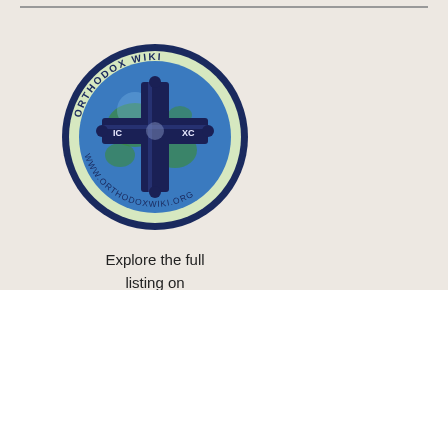[Figure (logo): Orthodox Wiki circular logo with a cross, globe imagery, text 'ORTHODOX WIKI' around the top, 'IC XC' on either side of the cross, and 'WWW.ORTHODOXWIKI.ORG' around the bottom]
Explore the full listing on Orthodox Wiki
THE NORTH AMERICAN THEBAID
© ™ by Ralph H. Sidway. All photographs and text by Ralph H. Sidway unless otherwise noted. All Rights